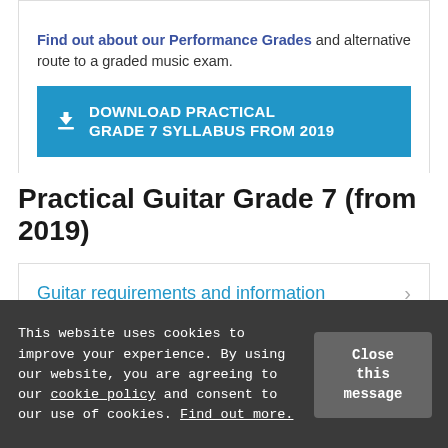Find out about our Performance Grades and alternative route to a graded music exam.
DOWNLOAD PRACTICAL GRADE 7 SYLLABUS FROM 2019
Practical Guitar Grade 7 (from 2019)
Guitar requirements and information
This website uses cookies to improve your experience. By using our website, you are agreeing to our cookie policy and consent to our use of cookies. Find out more.
Close this message